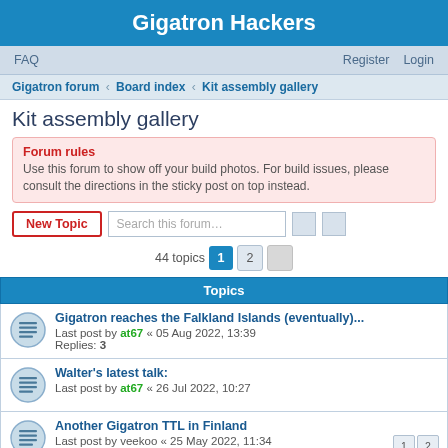Gigatron Hackers
FAQ  Register  Login
Gigatron forum › Board index › Kit assembly gallery
Kit assembly gallery
Forum rules
Use this forum to show off your build photos. For build issues, please consult the directions in the sticky post on top instead.
New Topic  Search this forum…
44 topics  1  2
| Topics |
| --- |
| Gigatron reaches the Falkland Islands (eventually)... | Last post by at67 « 05 Aug 2022, 13:39 | Replies: 3 |
| Walter's latest talk: | Last post by at67 « 26 Jul 2022, 10:27 |  |
| Another Gigatron TTL in Finland | Last post by veekoo « 25 May 2022, 11:34 | Replies: 11 |